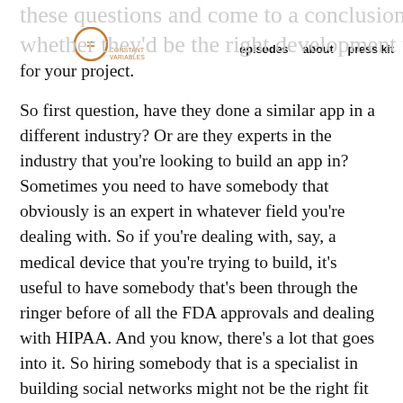episodes   about   press kit
these questions and come to a conclusion as to whether they'd be the right development team for your project.
So first question, have they done a similar app in a different industry? Or are they experts in the industry that you're looking to build an app in? Sometimes you need to have somebody that obviously is an expert in whatever field you're dealing with. So if you're dealing with, say, a medical device that you're trying to build, it's useful to have somebody that's been through the ringer before of all the FDA approvals and dealing with HIPAA. And you know, there's a lot that goes into it. So hiring somebody that is a specialist in building social networks might not be the right fit for you. But in some instances, if you are, say, building a social network, you know